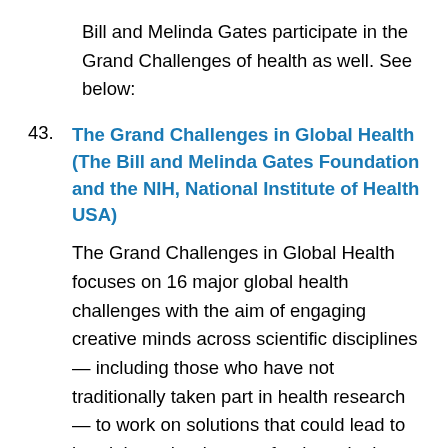Bill and Melinda Gates participate in the Grand Challenges of health as well. See below:
43. The Grand Challenges in Global Health (The Bill and Melinda Gates Foundation and the NIH, National Institute of Health USA)
The Grand Challenges in Global Health focuses on 16 major global health challenges with the aim of engaging creative minds across scientific disciplines — including those who have not traditionally taken part in health research — to work on solutions that could lead to breakthrough advances for those in the developing world. Grand Challenges in Global Health was launched in 2003, and several years later 45 grants totaling $458 million were awarded for research projects involving scientists in 33 countries. These projects were managed by teams working in